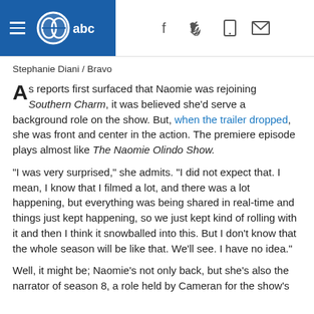ABC8 / abc logo with hamburger menu and social icons (f, twitter, tablet, mail)
Stephanie Diani / Bravo
As reports first surfaced that Naomie was rejoining Southern Charm, it was believed she'd serve a background role on the show. But, when the trailer dropped, she was front and center in the action. The premiere episode plays almost like The Naomie Olindo Show.
"I was very surprised," she admits. "I did not expect that. I mean, I know that I filmed a lot, and there was a lot happening, but everything was being shared in real-time and things just kept happening, so we just kept kind of rolling with it and then I think it snowballed into this. But I don't know that the whole season will be like that. We'll see. I have no idea."
Well, it might be; Naomie's not only back, but she's also the narrator of season 8, a role held by Cameran for the show's